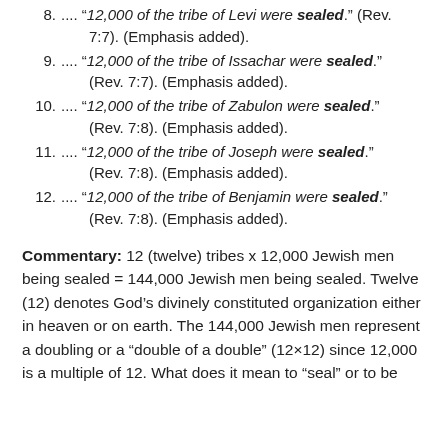8. ... " 12,000 of the tribe of Levi were sealed." (Rev. 7:7). (Emphasis added).
9. ... " 12,000 of the tribe of Issachar were sealed." (Rev. 7:7). (Emphasis added).
10. ... " 12,000 of the tribe of Zabulon were sealed." (Rev. 7:8). (Emphasis added).
11. ... " 12,000 of the tribe of Joseph were sealed." (Rev. 7:8). (Emphasis added).
12. ... " 12,000 of the tribe of Benjamin were sealed." (Rev. 7:8). (Emphasis added).
Commentary: 12 (twelve) tribes x 12,000 Jewish men being sealed = 144,000 Jewish men being sealed. Twelve (12) denotes God’s divinely constituted organization either in heaven or on earth. The 144,000 Jewish men represent a doubling or a “double of a double” (12×12) since 12,000 is a multiple of 12. What does it mean to “seal” or to be